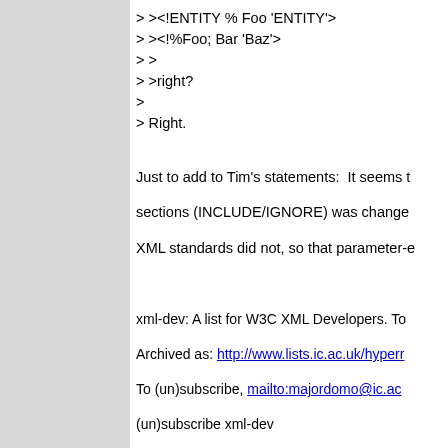> ><!ENTITY % Foo 'ENTITY'>
> ><!%Foo; Bar 'Baz'>
> >
> >right?
>
> Right.
Just to add to Tim's statements:  It seems t sections (INCLUDE/IGNORE) was change XML standards did not, so that parameter-e
xml-dev: A list for W3C XML Developers. To Archived as: http://www.lists.ic.ac.uk/hyperr To (un)subscribe, mailto:majordomo@ic.ac (un)subscribe xml-dev To subscribe to the digests, mailto:majordo subscribe xml-dev-digest List coordinator, Henry Rzepa (mailto:rzepa
References:
Re: A nice propeller head XML
From: Tim Bray <tbray@tex